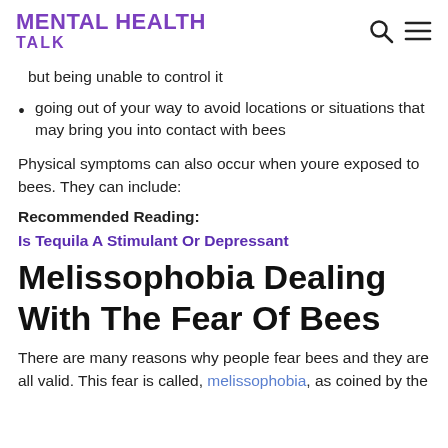MENTAL HEALTH TALK
but being unable to control it
going out of your way to avoid locations or situations that may bring you into contact with bees
Physical symptoms can also occur when youre exposed to bees. They can include:
Recommended Reading:
Is Tequila A Stimulant Or Depressant
Melissophobia Dealing With The Fear Of Bees
There are many reasons why people fear bees and they are all valid. This fear is called, melissophobia, as coined by the